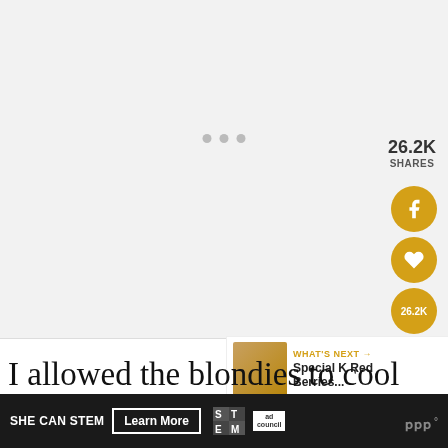[Figure (screenshot): Light gray content area with three gray dots indicating a slideshow/carousel placeholder]
26.2K SHARES
[Figure (infographic): Social sharing buttons: Facebook (f), heart/like, 26.2K count, and share/plus icon — all gold colored circles]
[Figure (photo): What's Next panel showing a food photo thumbnail with text: WHAT'S NEXT → Special K Red Berries...]
I allowed the blondies to cool
fo
[Figure (infographic): Ad bar: SHE CAN STEM | Learn More | STEM logo | Ad Council logo | Meredith logo]